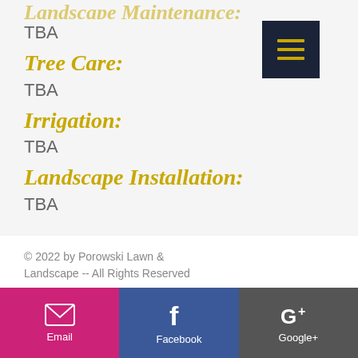Landscape Maintenance:
TBA
Tree Care:
TBA
Irrigation:
TBA
Landscape Installation:
TBA
© 2022 by Porowski Lawn & Landscape -- All Rights Reserved
| PRIVACY POLICY
[Figure (infographic): Social media bar with Email (pink/magenta), Facebook (blue), and Google+ (dark grey) buttons with icons and labels]